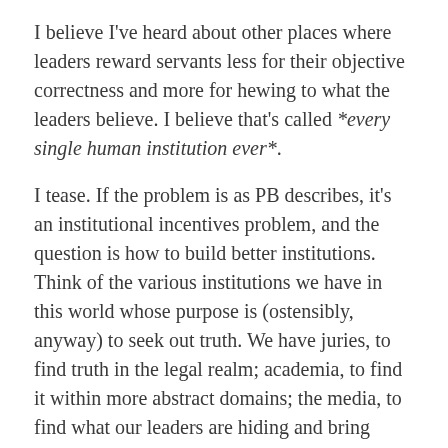I believe I've heard about other places where leaders reward servants less for their objective correctness and more for hewing to what the leaders believe. I believe that's called *every single human institution ever*.
I tease. If the problem is as PB describes, it's an institutional incentives problem, and the question is how to build better institutions. Think of the various institutions we have in this world whose purpose is (ostensibly, anyway) to seek out truth. We have juries, to find truth in the legal realm; academia, to find it within more abstract domains; the media, to find what our leaders are hiding and bring policies to the broader public; and many others. Every one of them is guilty in some way of confirmation bias. Cass Sunstein, who's now the head of OIRA, is famous for documenting how groups of people who believe the same things and only speak with one another are likely to arrive at a more-extreme conclusion